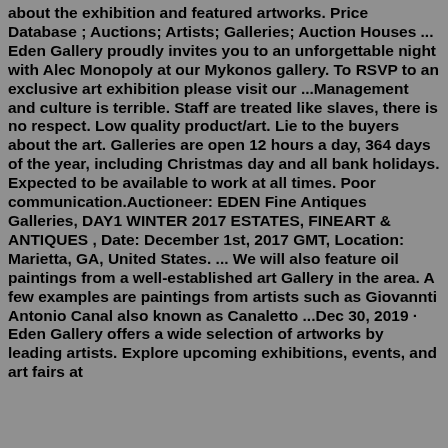about the exhibition and featured artworks. Price Database ; Auctions; Artists; Galleries; Auction Houses ... Eden Gallery proudly invites you to an unforgettable night with Alec Monopoly at our Mykonos gallery. To RSVP to an exclusive art exhibition please visit our ...Management and culture is terrible. Staff are treated like slaves, there is no respect. Low quality product/art. Lie to the buyers about the art. Galleries are open 12 hours a day, 364 days of the year, including Christmas day and all bank holidays. Expected to be available to work at all times. Poor communication.Auctioneer: EDEN Fine Antiques Galleries, DAY1 WINTER 2017 ESTATES, FINEART & ANTIQUES , Date: December 1st, 2017 GMT, Location: Marietta, GA, United States. ... We will also feature oil paintings from a well-established art Gallery in the area. A few examples are paintings from artists such as Giovannti Antonio Canal also known as Canaletto ...Dec 30, 2019 · Eden Gallery offers a wide selection of artworks by leading artists. Explore upcoming exhibitions, events, and art fairs at